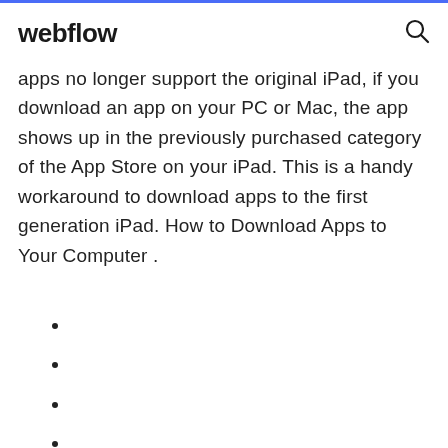webflow
apps no longer support the original iPad, if you download an app on your PC or Mac, the app shows up in the previously purchased category of the App Store on your iPad. This is a handy workaround to download apps to the first generation iPad. How to Download Apps to Your Computer .